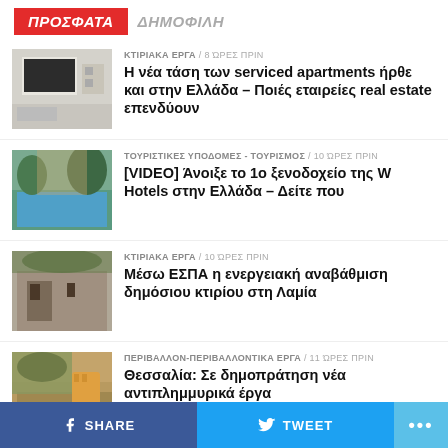ΠΡΟΣΦΑΤΑ   ΔΗΜΟΦΙΛΗ
[Figure (photo): Interior of a modern apartment with TV and furniture]
ΚΤΙΡΙΑΚΑ ΕΡΓΑ  /  8 ώρες πριν
Η νέα τάση των serviced apartments ήρθε και στην Ελλάδα – Ποιές εταιρείες real estate επενδύουν
[Figure (photo): Outdoor pool area of a luxury hotel with greenery]
ΤΟΥΡΙΣΤΙΚΕΣ ΥΠΟΔΟΜΕΣ - ΤΟΥΡΙΣΜΟΣ  /  10 ώρες πριν
[VIDEO] Άνοιξε το 1ο ξενοδοχείο της W Hotels στην Ελλάδα – Δείτε που
[Figure (photo): Exterior of a building with wooden doors and greenery]
ΚΤΙΡΙΑΚΑ ΕΡΓΑ  /  10 ώρες πριν
Μέσω ΕΣΠΑ η ενεργειακή αναβάθμιση δημόσιου κτιρίου στη Λαμία
[Figure (photo): Construction site with excavator machinery]
ΠΕΡΙΒΑΛΛΟΝ-ΠΕΡΙΒΑΛΛΟΝΤΙΚΑ ΕΡΓΑ  /  11 ώρες πριν
Θεσσαλία: Σε δημοπράτηση νέα αντιπλημμυρικά έργα
SHARE   TWEET   ...